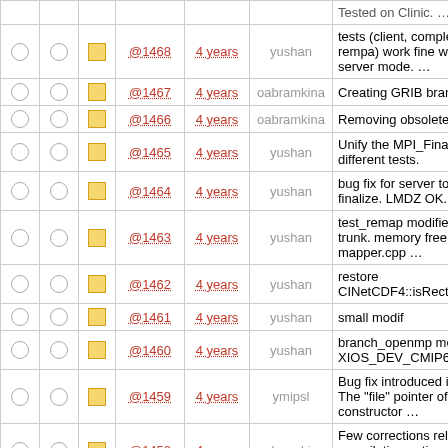|  |  |  | Rev | Age | User | Message |
| --- | --- | --- | --- | --- | --- | --- |
| ○ ○ | □ | @1468 | 4 years | yushan | tests (client, complete, toy, rempa) work fine with 2-level server mode. … |
| ○ ○ | □ | @1467 | 4 years | oabramkina | Creating GRIB branch |
| ○ ○ | □ | @1466 | 4 years | oabramkina | Removing obsolete branch. |
| ○ ○ | □ | @1465 | 4 years | yushan | Unify the MPI_Finalize in different tests. |
| ○ ○ | □ | @1464 | 4 years | yushan | bug fix for server to correctly finalize. LMDZ OK. |
| ○ ○ | □ | @1463 | 4 years | yushan | test_remap modified to follow trunk. memory free issue in mapper.cpp … |
| ○ ○ | □ | @1462 | 4 years | yushan | restore CINetCDF4::isRectilinear |
| ○ ○ | □ | @1461 | 4 years | yushan | small modif |
| ○ ○ | □ | @1460 | 4 years | yushan | branch_openmp merged with XIOS_DEV_CMIP6@1459 |
| ○ ○ | □ | @1459 | 4 years | ymipsl | Bug fix introduced in rev. 1456 The "file" pointer of the constructor … |
| ○ ○ | □ | @1458 | 4 years | oabramkina | Few corrections related to compilation options -- use_extern_boost and … |
| ○ ○ | □ | @1457 | 4 years | ymipsl | Add new domain filter : reorder_domain Reoder the data along the global … |
| ○ ○ | □ | @1456 | 4 years | ymipsl | Add compression for lon, lat and axis. Activated only if file … |